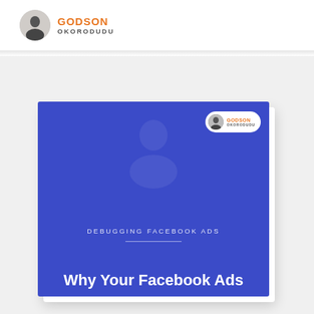GODSON OKORODUDU
[Figure (illustration): Book cover thumbnail for 'Debugging Facebook Ads - Why Your Facebook Ads' by Godson Okorodudu. Blue background cover with author badge in top right corner and white text.]